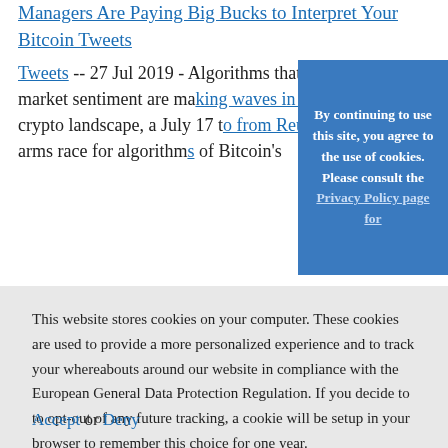Managers Are Paying Big Bucks to Interpret Your Bitcoin Tweets
-- 27 Jul 2019 - Algorithms that can decode market sentiment are making waves in the institutional crypto landscape, a July 17 report from Reuters claims. An arms race for algorithms...of Bitcoin's
By continuing to use this site, you agree to the use of cookies. Please consult the Privacy Policy page for
This website stores cookies on your computer. These cookies are used to provide a more personalized experience and to track your whereabouts around our website in compliance with the European General Data Protection Regulation. If you decide to to opt-out of any future tracking, a cookie will be setup in your browser to remember this choice for one year.
Accept or Deny